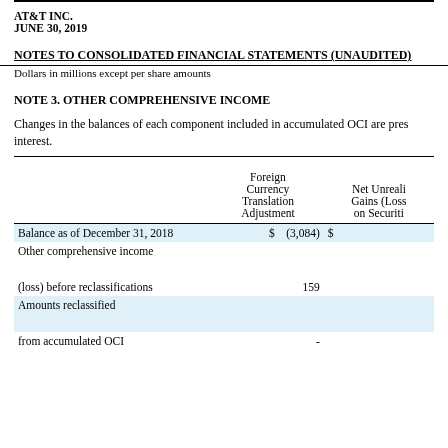AT&T INC.
JUNE 30, 2019
NOTES TO CONSOLIDATED FINANCIAL STATEMENTS (UNAUDITED)
Dollars in millions except per share amounts
NOTE 3. OTHER COMPREHENSIVE INCOME
Changes in the balances of each component included in accumulated OCI are presented net of taxes and noncontrolling interest.
|  | Foreign Currency Translation Adjustment | Net Unrealized Gains (Losses) on Securities |
| --- | --- | --- |
| Balance as of December 31, 2018 | $ (3,084) | $ |
| Other comprehensive income |  |  |
| (loss) before reclassifications | 159 |  |
| Amounts reclassified |  |  |
| from accumulated OCI | - |  |